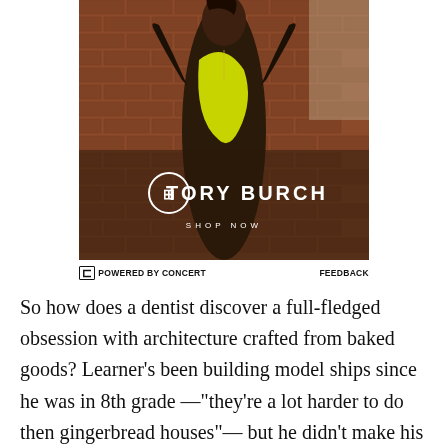[Figure (photo): Tory Burch advertisement showing a model in a dark brown and yellow patterned bodysuit against a brick wall background, with Tory Burch logo and SHOP NOW text overlay]
POWERED BY CONCERT    FEEDBACK
So how does a dentist discover a full-fledged obsession with architecture crafted from baked goods? Learner's been building model ships since he was in 8th grade —"they're a lot harder to do then gingerbread houses"— but he didn't make his first cookie home until he was a parent. Sick of wasting bottom-of-the-box pretzels,